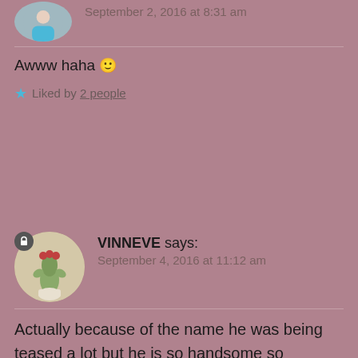September 2, 2016 at 8:31 am
Awww haha 🙂
Liked by 2 people
[Figure (photo): Profile avatar of VINNEVE showing a cactus plant with red flowers]
VINNEVE says:
September 4, 2016 at 11:12 am
Actually because of the name he was being teased a lot but he is so handsome so perhaps others are just envious haha!
Liked by 1 person